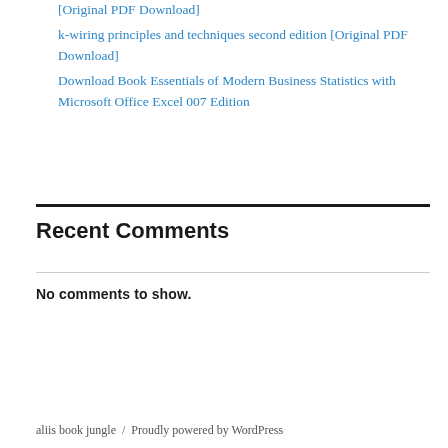[Original PDF Download]
k-wiring principles and techniques second edition [Original PDF Download]
Download Book Essentials of Modern Business Statistics with Microsoft Office Excel 007 Edition
Recent Comments
No comments to show.
aliis book jungle / Proudly powered by WordPress